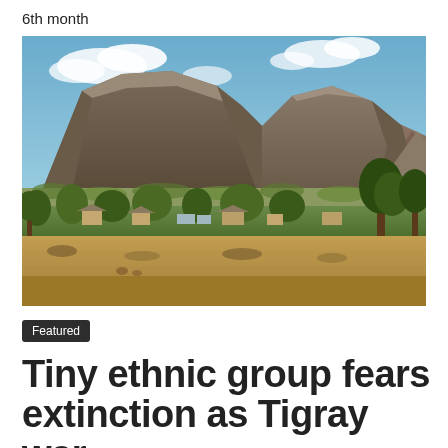6th month
[Figure (photo): Landscape photograph of a mountainous region in Tigray, Ethiopia, showing rugged flat-topped mountains in the background, a small village with buildings and trees in the middle ground, and dry fields in the foreground under a partly cloudy sky.]
Featured
Tiny ethnic group fears extinction as Tigray war